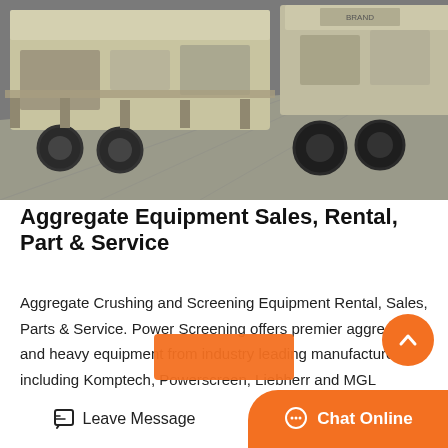[Figure (photo): Industrial aggregate crushing and screening equipment on a concrete surface, including large machinery mounted on trailers with heavy wheels.]
Aggregate Equipment Sales, Rental, Part & Service
Aggregate Crushing and Screening Equipment Rental, Sales, Parts & Service. Power Screening offers premier aggregate and heavy equipment from industry leading manufacturers including Komptech, Powerscreen, Liebherr and MGL Engineering. Our...
Leave Message  Chat Online